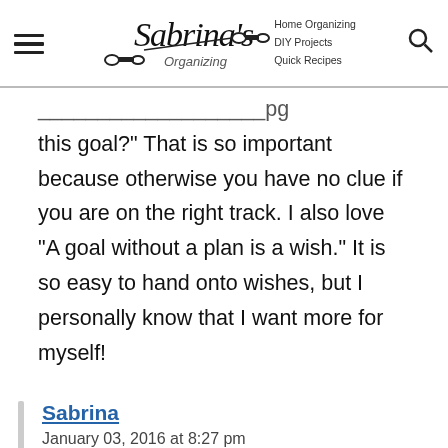Sabrina's Organizing | Home Organizing | DIY Projects | Quick Recipes
this goal?" That is so important because otherwise you have no clue if you are on the right track. I also love "A goal without a plan is a wish." It is so easy to hand onto wishes, but I personally know that I want more for myself!
Sabrina
January 03, 2016 at 8:27 pm